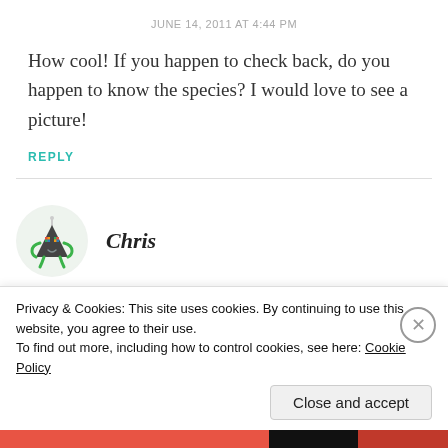JUNE 14, 2011 AT 4:44 PM
How cool! If you happen to check back, do you happen to know the species? I would love to see a picture!
REPLY
[Figure (illustration): Circular avatar with light green background showing a cartoon robot/alien figure shaped like a dark triangle with green limbs and colorful pixel eyes]
Chris
AUGUST 6, 2016 AT 3:33 PM
Privacy & Cookies: This site uses cookies. By continuing to use this website, you agree to their use.
To find out more, including how to control cookies, see here: Cookie Policy
Close and accept